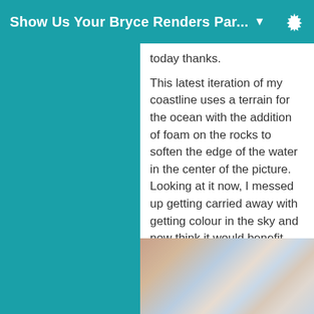Show Us Your Bryce Renders Par...
today thanks.
This latest iteration of my coastline uses a terrain for the ocean with the addition of foam on the rocks to soften the edge of the water in the center of the picture. Looking at it now, I messed up getting carried away with getting colour in the sky and now think it would benefit from a heavy dark cloudy sky with the rough water.
[Figure (photo): Partially visible render image showing a coastline scene with muted blues and browns, likely a Bryce 3D render of water and sky.]